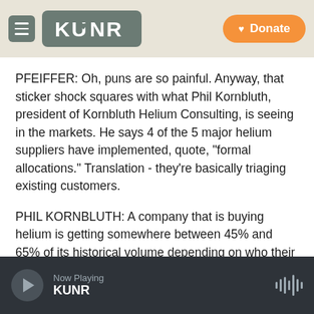KUNR | Donate
PFEIFFER: Oh, puns are so painful. Anyway, that sticker shock squares with what Phil Kornbluth, president of Kornbluth Helium Consulting, is seeing in the markets. He says 4 of the 5 major helium suppliers have implemented, quote, "formal allocations." Translation - they're basically triaging existing customers.
PHIL KORNBLUTH: A company that is buying helium is getting somewhere between 45% and 65% of its historical volume depending on who their supplier is.
Now Playing KUNR